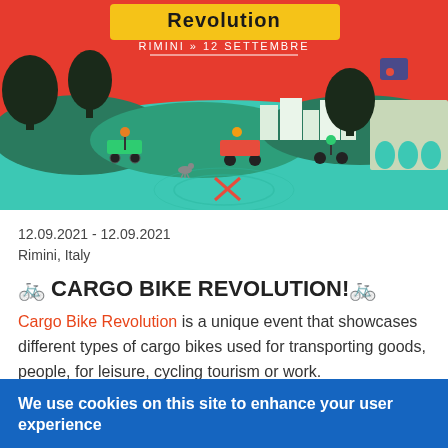[Figure (illustration): Colorful illustrated poster for Cargo Bike Revolution event in Rimini, 12 September, showing various cargo bikes, people, stylized landscape with buildings and trees on teal/red background with the text 'Revolution RIMINI >> 12 SETTEMBRE']
12.09.2021 - 12.09.2021
Rimini, Italy
🚲 CARGO BIKE REVOLUTION!🚲
Cargo Bike Revolution is a unique event that showcases different types of cargo bikes used for transporting goods, people, for leisure, cycling tourism or work.
Read more
We use cookies on this site to enhance your user experience